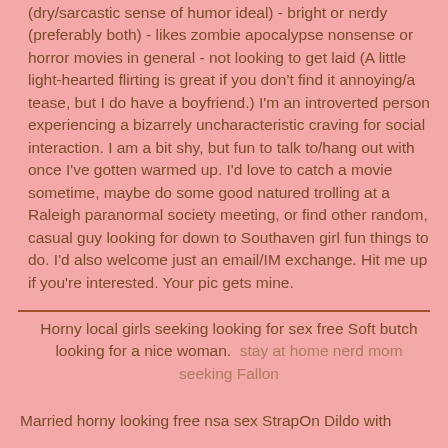(dry/sarcastic sense of humor ideal) - bright or nerdy (preferably both) - likes zombie apocalypse nonsense or horror movies in general - not looking to get laid (A little light-hearted flirting is great if you don't find it annoying/a tease, but I do have a boyfriend.) I'm an introverted person experiencing a bizarrely uncharacteristic craving for social interaction. I am a bit shy, but fun to talk to/hang out with once I've gotten warmed up. I'd love to catch a movie sometime, maybe do some good natured trolling at a Raleigh paranormal society meeting, or find other random, casual guy looking for down to Southaven girl fun things to do. I'd also welcome just an email/IM exchange. Hit me up if you're interested. Your pic gets mine.
Horny local girls seeking looking for sex free Soft butch looking for a nice woman. stay at home nerd mom seeking Fallon
Married horny looking free nsa sex StrapOn Dildo with